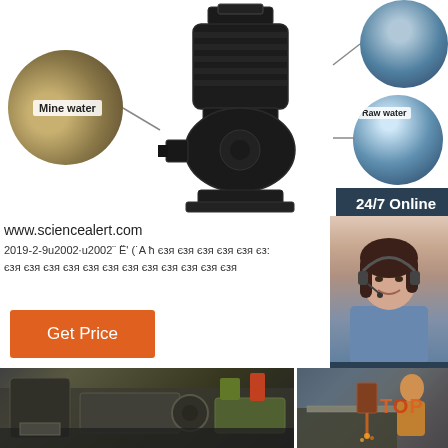[Figure (photo): Industrial submersible pump in center, with circular application images (mine water, raw water) connected by lines. Customer service representative with headset on right side. Bottom shows manufacturing workshop photos.]
www.sciencealert.com
2019-2-9u2002·u2002¨ Ë' (˙A ħ єзя єзя єзя єзя єзя єз: єзя єзя єзя єзя єзя єзя єзя єзя єзя єзя єзя єзя
Get Price
24/7 Online
Click here for free chat !
QUOTATION